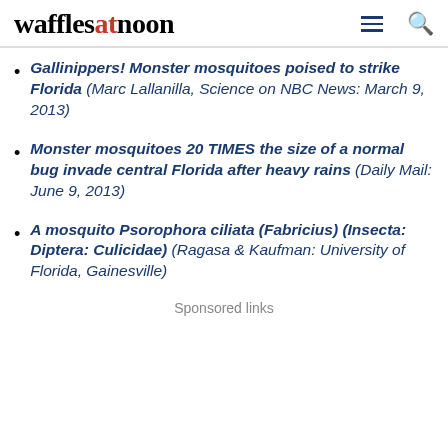wafflesatnoon
Gallinippers! Monster mosquitoes poised to strike Florida (Marc Lallanilla, Science on NBC News: March 9, 2013)
Monster mosquitoes 20 TIMES the size of a normal bug invade central Florida after heavy rains (Daily Mail: June 9, 2013)
A mosquito Psorophora ciliata (Fabricius) (Insecta: Diptera: Culicidae) (Ragasa & Kaufman: University of Florida, Gainesville)
Sponsored links